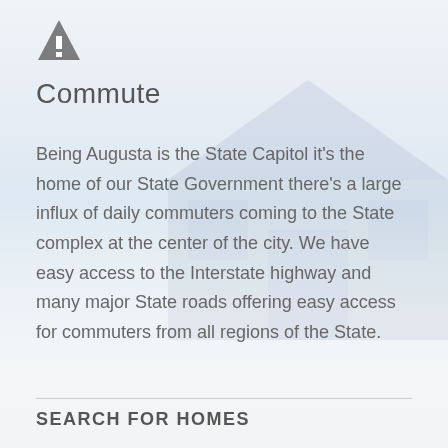[Figure (illustration): Road/highway icon — a dark triangle warning-style road sign shape]
Commute
Being Augusta is the State Capitol it's the home of our State Government there's a large influx of daily commuters coming to the State complex at the center of the city. We have easy access to the Interstate highway and many major State roads offering easy access for commuters from all regions of the State.
SEARCH FOR HOMES